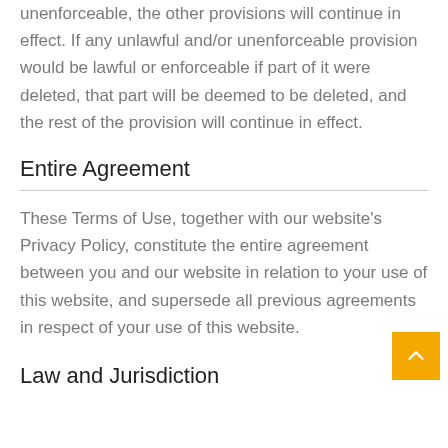unenforceable, the other provisions will continue in effect. If any unlawful and/or unenforceable provision would be lawful or enforceable if part of it were deleted, that part will be deemed to be deleted, and the rest of the provision will continue in effect.
Entire Agreement
These Terms of Use, together with our website's Privacy Policy, constitute the entire agreement between you and our website in relation to your use of this website, and supersede all previous agreements in respect of your use of this website.
Law and Jurisdiction